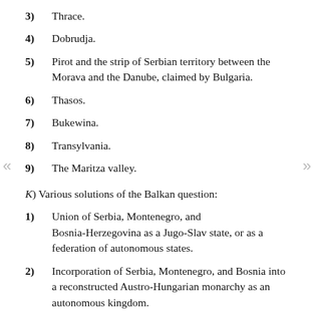3) Thrace.
4) Dobrudja.
5) Pirot and the strip of Serbian territory between the Morava and the Danube, claimed by Bulgaria.
6) Thasos.
7) Bukewina.
8) Transylvania.
9) The Maritza valley.
K) Various solutions of the Balkan question:
1) Union of Serbia, Montenegro, and Bosnia-Herzegovina as a Jugo-Slav state, or as a federation of autonomous states.
2) Incorporation of Serbia, Montenegro, and Bosnia into a reconstructed Austro-Hungarian monarchy as an autonomous kingdom.
3) A great Bulgaria.
4) An autonomous Macedonia.